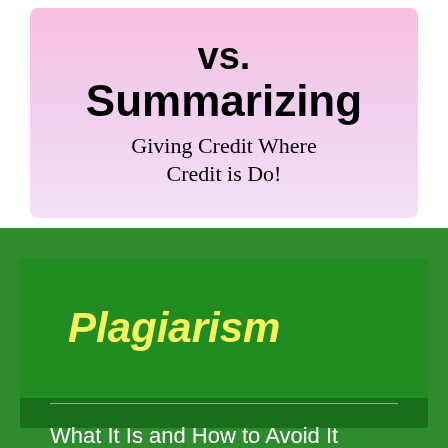vs. Summarizing Giving Credit Where Credit is Do!
[Figure (infographic): Green slide with bold yellow italic 'Plagiarism' heading and white subtitle 'What It Is and How to Avoid It' on dark green background]
Plagiarism
What It Is and How to Avoid It